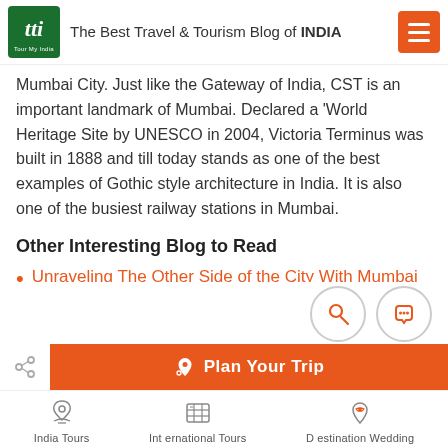The Best Travel & Tourism Blog of INDIA
Mumbai City. Just like the Gateway of India, CST is an important landmark of Mumbai. Declared a 'World Heritage Site by UNESCO in 2004, Victoria Terminus was built in 1888 and till today stands as one of the best examples of Gothic style architecture in India. It is also one of the busiest railway stations in Mumbai.
Other Interesting Blog to Read
Unraveling The Other Side of the City With Mumbai Nightlife Guide
Plan Your Trip
India Tours | International Tours | Destination Wedding